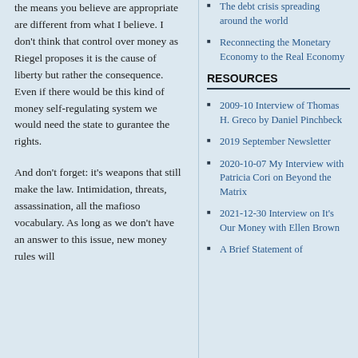the means you believe are appropriate are different from what I believe. I don’t think that control over money as Riegel proposes it is the cause of liberty but rather the consequence. Even if there would be this kind of money self-regulating system we would need the state to gurantee the rights.
And don’t forget: it’s weapons that still make the law. Intimidation, threats, assassination, all the mafioso vocabulary. As long as we don’t have an answer to this issue, new money rules will
The debt crisis spreading around the world
Reconnecting the Monetary Economy to the Real Economy
RESOURCES
2009-10 Interview of Thomas H. Greco by Daniel Pinchbeck
2019 September Newsletter
2020-10-07 My Interview with Patricia Cori on Beyond the Matrix
2021-12-30 Interview on It’s Our Money with Ellen Brown
A Brief Statement of